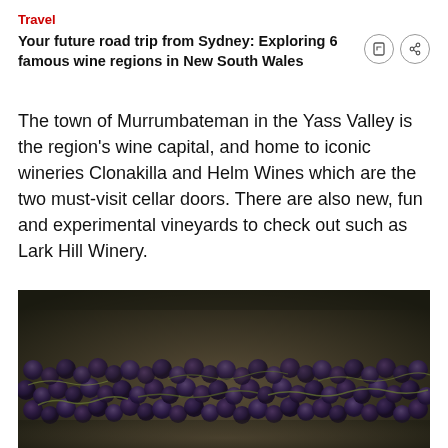Travel
Your future road trip from Sydney: Exploring 6 famous wine regions in New South Wales
The town of Murrumbateman in the Yass Valley is the region's wine capital, and home to iconic wineries Clonakilla and Helm Wines which are the two must-visit cellar doors. There are also new, fun and experimental vineyards to check out such as Lark Hill Winery.
[Figure (photo): Close-up photograph of dark purple/black wine grapes in a large cluster, with green stems visible, filling the entire frame]